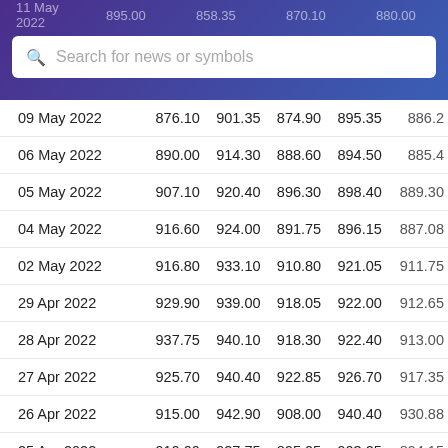11 May 2022  895.00  858.35  870.10  880.00  877.0
Search for news or symbols
| Date | Open | High | Low | Close | Adj Close |
| --- | --- | --- | --- | --- | --- |
| 09 May 2022 | 876.10 | 901.35 | 874.90 | 895.35 | 886.2 |
| 06 May 2022 | 890.00 | 914.30 | 888.60 | 894.50 | 885.4 |
| 05 May 2022 | 907.10 | 920.40 | 896.30 | 898.40 | 889.30 |
| 04 May 2022 | 916.60 | 924.00 | 891.75 | 896.15 | 887.08 |
| 02 May 2022 | 916.80 | 933.10 | 910.80 | 921.05 | 911.75 |
| 29 Apr 2022 | 929.90 | 939.00 | 918.05 | 922.00 | 912.65 |
| 28 Apr 2022 | 937.75 | 940.10 | 918.30 | 922.40 | 913.00 |
| 27 Apr 2022 | 925.70 | 940.40 | 922.85 | 926.70 | 917.35 |
| 26 Apr 2022 | 915.00 | 942.90 | 908.00 | 940.40 | 930.88 |
| 25 Apr 2022 | 919.00 | 927.75 | 895.05 | 903.25 | 894.15 |